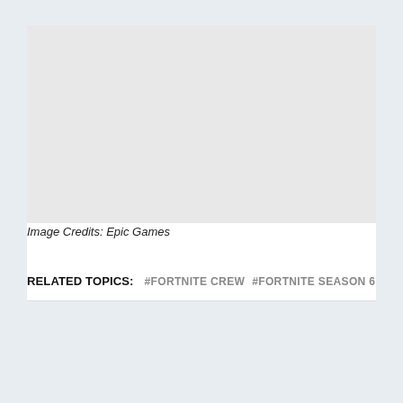[Figure (photo): Blank light gray image placeholder for a Fortnite-related image]
Image Credits: Epic Games
RELATED TOPICS:   #FORTNITE CREW   #FORTNITE SEASON 6